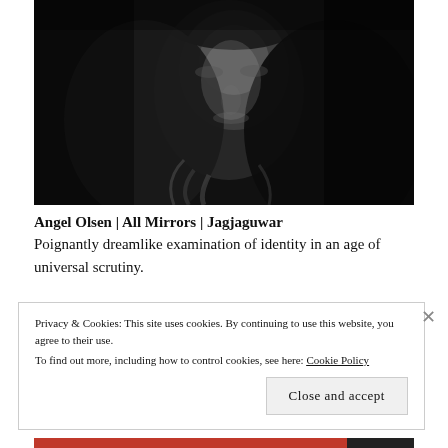[Figure (photo): Black and white portrait photograph of a woman with long dark hair, looking at the camera with a serious expression against a dark background.]
Angel Olsen | All Mirrors | Jagjaguwar
Poignantly dreamlike examination of identity in an age of universal scrutiny.
Privacy & Cookies: This site uses cookies. By continuing to use this website, you agree to their use.
To find out more, including how to control cookies, see here: Cookie Policy
Close and accept